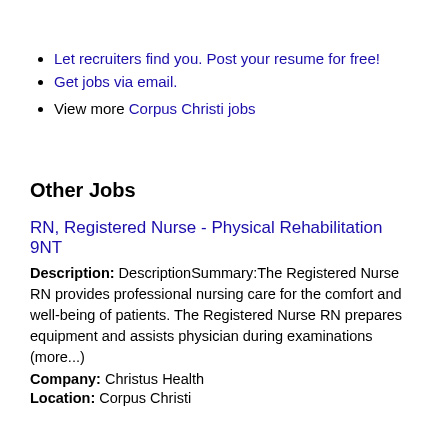Let recruiters find you. Post your resume for free!
Get jobs via email.
View more Corpus Christi jobs
Other Jobs
RN, Registered Nurse - Physical Rehabilitation 9NT
Description: DescriptionSummary:The Registered Nurse RN provides professional nursing care for the comfort and well-being of patients. The Registered Nurse RN prepares equipment and assists physician during examinations (more...)
Company: Christus Health
Location: Corpus Christi